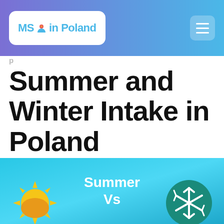MS in Poland
Summer and Winter Intake in Poland
Admin   July 20, 2018   No Comments
[Figure (infographic): Infographic showing Summer Vs (Winter) with a sun icon on the left and a snowflake icon on the right on a blue gradient background]